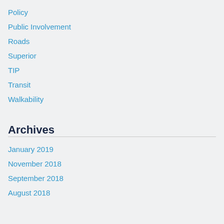Policy
Public Involvement
Roads
Superior
TIP
Transit
Walkability
Archives
January 2019
November 2018
September 2018
August 2018